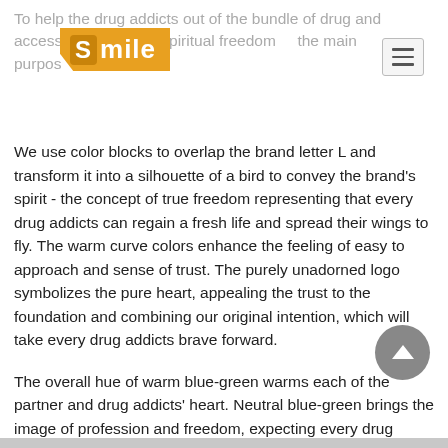To help the drug addicts out of the bundle of drug and access music and spiritual freedom the main purpose
[Figure (logo): Smile brand logo with orange speech-bubble shape containing white text 'Smile' with a stylized 'S' icon]
We use color blocks to overlap the brand letter L and transform it into a silhouette of a bird to convey the brand’s spirit - the concept of true freedom representing that every drug addicts can regain a fresh life and spread their wings to fly. The warm curve colors enhance the feeling of easy to approach and sense of trust. The purely unadorned logo symbolizes the pure heart, appealing the trust to the foundation and combining our original intention, which will take every drug addicts brave forward.
The overall hue of warm blue-green warms each of the partner and drug addicts’ heart. Neutral blue-green brings the image of profession and freedom, expecting every drug addict can obtain real freedom in the foundation.